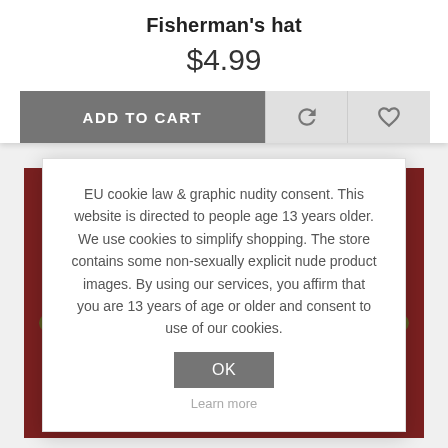Fisherman's hat
$4.99
ADD TO CART
EU cookie law & graphic nudity consent. This website is directed to people age 13 years older. We use cookies to simplify shopping. The store contains some non-sexually explicit nude product images. By using our services, you affirm that you are 13 years of age or older and consent to use of our cookies.
OK
Learn more
[Figure (photo): 3D rendered image of a woman wearing a green fisherman's hat decorated with red roses, set against a dark red background]